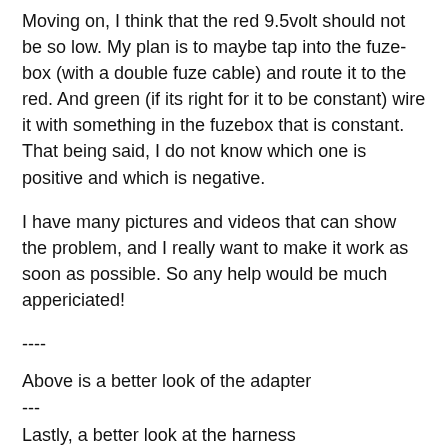Moving on, I think that the red 9.5volt should not be so low. My plan is to maybe tap into the fuze-box (with a double fuze cable) and route it to the red. And green (if its right for it to be constant) wire it with something in the fuzebox that is constant. That being said, I do not know which one is positive and which is negative.
I have many pictures and videos that can show the problem, and I really want to make it work as soon as possible. So any help would be much appericiated!
----
Above is a better look of the adapter
---
Lastly, a better look at the harness
The harness has 1 extra black wire as illustrated - the